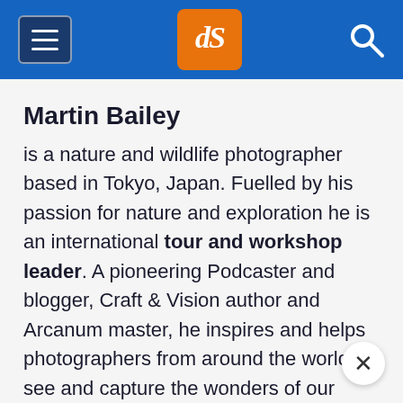dPS navigation header with hamburger menu, dPS logo, and search icon
Martin Bailey
is a nature and wildlife photographer based in Tokyo, Japan. Fuelled by his passion for nature and exploration he is an international tour and workshop leader. A pioneering Podcaster and blogger, Craft & Vision author and Arcanum master, he inspires and helps photographers from around the world to see and capture the wonders of our awesome planet home.